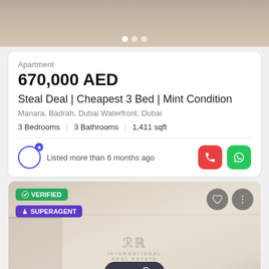[Figure (photo): Top image of apartment interior/exterior with pagination dots]
Apartment
670,000 AED
Steal Deal | Cheapest 3 Bed | Mint Condition
Manara, Badrah, Dubai Waterfront, Dubai
3 Bedrooms  |  3 Bathrooms  |  1,411 sqft
Listed more than 6 months ago
[Figure (photo): Interior photo of apartment room with VERIFIED and SUPERAGENT badges, Map button overlay, and R&R International Real Estate watermark]